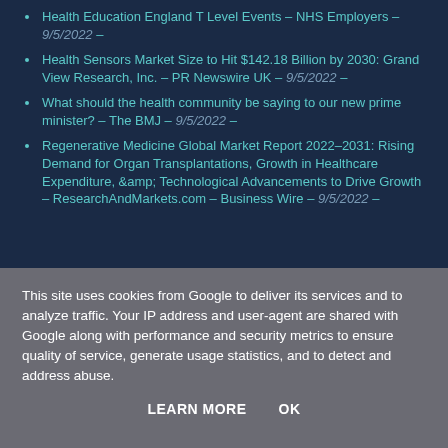Health Education England T Level Events - NHS Employers - 9/5/2022 -
Health Sensors Market Size to Hit $142.18 Billion by 2030: Grand View Research, Inc. - PR Newswire UK - 9/5/2022 -
What should the health community be saying to our new prime minister? - The BMJ - 9/5/2022 -
Regenerative Medicine Global Market Report 2022-2031: Rising Demand for Organ Transplantations, Growth in Healthcare Expenditure, &amp; Technological Advancements to Drive Growth - ResearchAndMarkets.com - Business Wire - 9/5/2022 -
This site uses cookies from Google to deliver its services and to analyze traffic. Your IP address and user-agent are shared with Google along with performance and security metrics to ensure quality of service, generate usage statistics, and to detect and address abuse.
LEARN MORE    OK